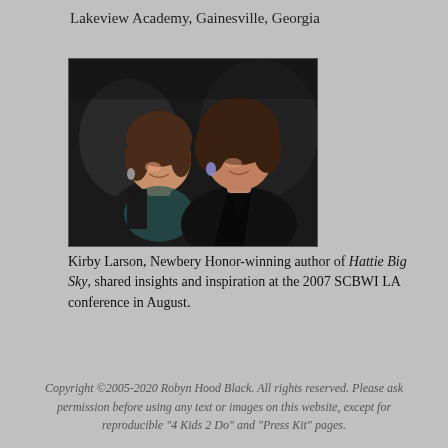Lakeview Academy, Gainesville, Georgia
[Figure (photo): Two women posing together at what appears to be an evening event, smiling at the camera.]
Kirby Larson, Newbery Honor-winning author of Hattie Big Sky, shared insights and inspiration at the 2007 SCBWI LA conference in August.
Copyright ©2005-2020 Robyn Hood Black. All rights reserved. Please ask permission before using any text or images on this website, except for reproducible "4 Kids 2 Do" and "Press Kit" pages.